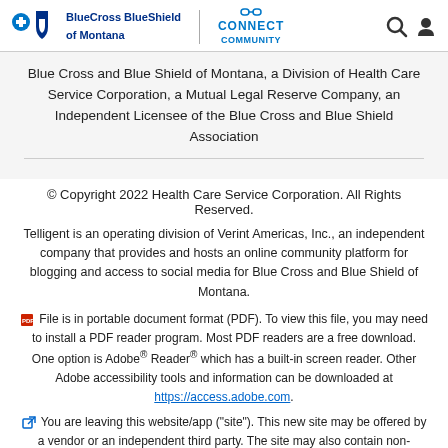BlueCross BlueShield of Montana | CONNECT COMMUNITY
Blue Cross and Blue Shield of Montana, a Division of Health Care Service Corporation, a Mutual Legal Reserve Company, an Independent Licensee of the Blue Cross and Blue Shield Association
© Copyright 2022 Health Care Service Corporation. All Rights Reserved.
Telligent is an operating division of Verint Americas, Inc., an independent company that provides and hosts an online community platform for blogging and access to social media for Blue Cross and Blue Shield of Montana.
File is in portable document format (PDF). To view this file, you may need to install a PDF reader program. Most PDF readers are a free download. One option is Adobe® Reader® which has a built-in screen reader. Other Adobe accessibility tools and information can be downloaded at https://access.adobe.com.
You are leaving this website/app ("site"). This new site may be offered by a vendor or an independent third party. The site may also contain non-Medicare related information. Some sites may require you to agree to their terms of use and privacy policy.